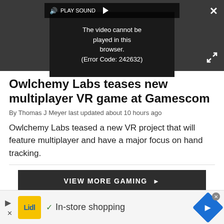[Figure (screenshot): Video player showing error message: 'The video cannot be played in this browser. (Error Code: 242632)' with PLAY SOUND control bar and close/expand buttons on dark background]
Owlchemy Labs teases new multiplayer VR game at Gamescom
By Thomas J Meyer last updated about 10 hours ago
Owlchemy Labs teased a new VR project that will feature multiplayer and have a major focus on hand tracking.
VIEW MORE GAMING ▶
[Figure (screenshot): Lidl advertisement banner with play button, Lidl logo, checkmark and 'In-store shopping' text, and blue navigation diamond icon]